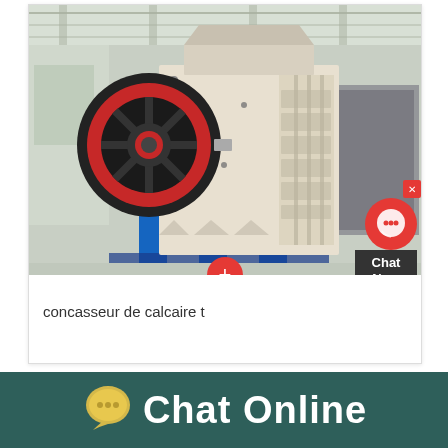[Figure (photo): Industrial jaw crusher machine with black flywheel with red ring, beige/cream heavy metal body with bolt fasteners, blue support legs, in a factory warehouse setting. Chat Now widget overlay in top-right corner of image.]
concasseur de calcaire t
[Figure (other): Teal/dark green bottom bar with yellow speech bubble chat icon and white 'Chat Online' text]